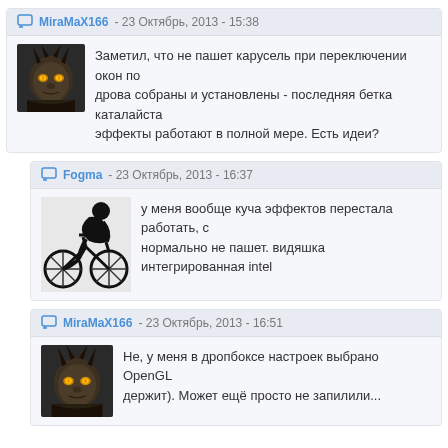MiraMaX166 - 23 Октябрь, 2013 - 15:38
Заметил, что не пашет карусель при переключении окон по дрова собраны и установлены - последняя бетка каталайста эффекты работают в полной мере. Есть идеи?
Fogma - 23 Октябрь, 2013 - 16:37
у меня вообще куча эффектов перестала работать, с нормально не пашет. видяшка интегрированная intel
MiraMaX166 - 23 Октябрь, 2013 - 16:51
Не, у меня в дропбоксе настроек выбрано OpenGL держит). Может ещё просто не запилили...